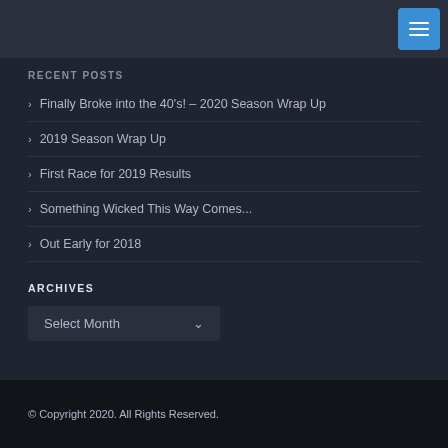RECENT POSTS
Finally Broke into the 40's! – 2020 Season Wrap Up
2019 Season Wrap Up
First Race for 2019 Results
Something Wicked This Way Comes...
Out Early for 2018
ARCHIVES
Select Month
© Copyright 2020. All Rights Reserved.